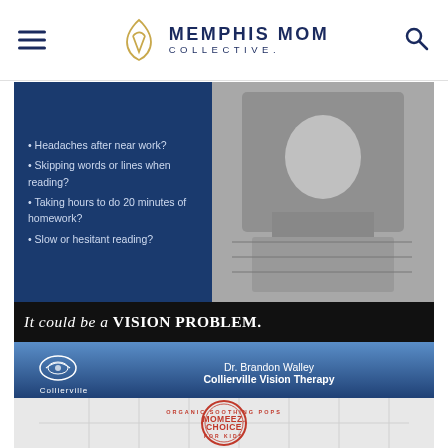Memphis Mom Collective
[Figure (illustration): Advertisement for Collierville Vision Therapy. Top section shows blue panel with bullet points: 'Headaches after near work?', 'Skipping words or lines when reading?', 'Taking hours to do 20 minutes of homework?', 'Slow or hesitant reading?' alongside a black-and-white photo of a child stressed over homework. Black bar reads 'IT COULD BE A VISION PROBLEM.' Contact section shows Dr. Brandon Walley, Collierville Vision Therapy, call 901-853-8180, www.colliervillevisiontherapy.com]
[Figure (logo): Momeez Choice circular stamp logo - 'Organic Soothing Pops, Momeez Choice, For Kids' in red on white tile background]